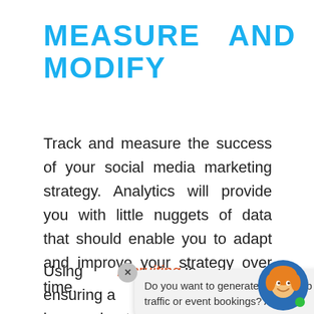MEASURE AND MODIFY
Track and measure the success of your social media marketing strategy. Analytics will provide you with little nuggets of data that should enable you to adapt and improve your strategy over time.
Using [social media for] recruiting is [about] ensuring a[nyone] knows about you and your
[Figure (illustration): Tooltip popup with close button reading 'Do you want to generate leads, web traffic or event bookings? Attract...' and an avatar of a cartoon blonde woman with blue background in the bottom right corner.]